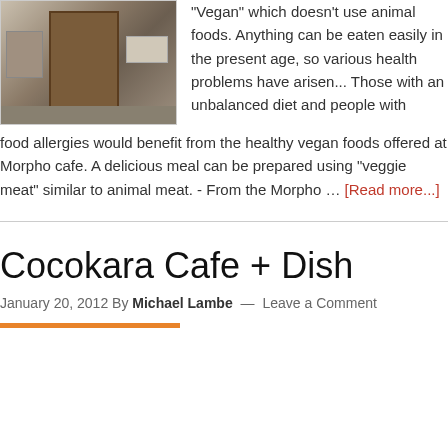[Figure (photo): Exterior of a building with a brown wooden door, yellowish walls, and a small sign, viewed from street level.]
"Vegan" which doesn't use animal foods. Anything can be eaten easily in the present age, so various health problems have arisen... Those with an unbalanced diet and people with food allergies would benefit from the healthy vegan foods offered at Morpho cafe. A delicious meal can be prepared using "veggie meat" similar to animal meat. - From the Morpho … [Read more...]
Cocokara Cafe + Dish
January 20, 2012 By Michael Lambe — Leave a Comment